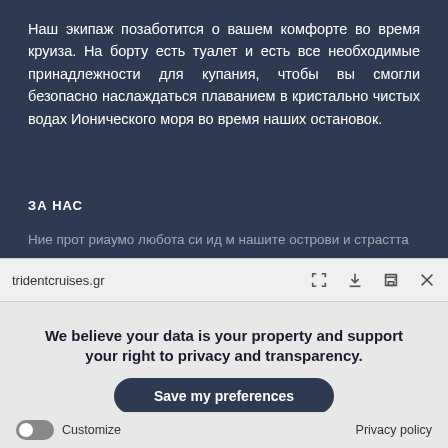Наш экипаж позаботится о вашем комфорте во время круиза. На борту есть туалет и есть все необходимые принадлежности для купания, чтобы вы смогли безопасно наслаждаться плаванием в кристально чистых водах Ионического моря во время наших остановок.
ЗА НАС
Ние прот риаумо любота си ид м нашите острови и страстта
tridentcruises.gr
We believe your data is your property and support your right to privacy and transparency.
Save my preferences
Customize   Privacy policy